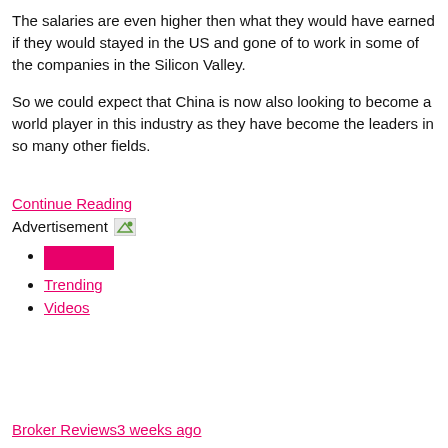The salaries are even higher then what they would have earned if they would stayed in the US and gone of to work in some of the companies in the Silicon Valley.
So we could expect that China is now also looking to become a world player in this industry as they have become the leaders in so many other fields.
Continue Reading
Advertisement
(pink block)
Trending
Videos
Broker Reviews3 weeks ago